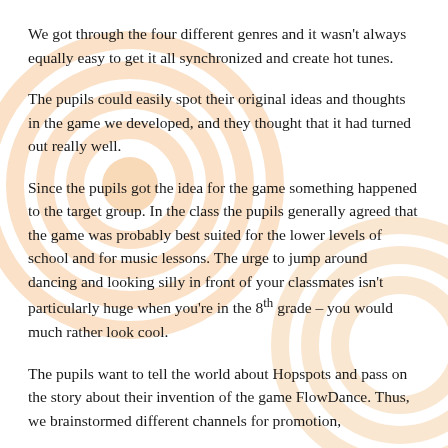We got through the four different genres and it wasn't always equally easy to get it all synchronized and create hot tunes.
The pupils could easily spot their original ideas and thoughts in the game we developed, and they thought that it had turned out really well.
Since the pupils got the idea for the game something happened to the target group. In the class the pupils generally agreed that the game was probably best suited for the lower levels of school and for music lessons. The urge to jump around dancing and looking silly in front of your classmates isn't particularly huge when you're in the 8th grade – you would much rather look cool.
The pupils want to tell the world about Hopspots and pass on the story about their invention of the game FlowDance. Thus, we brainstormed different channels for promotion,